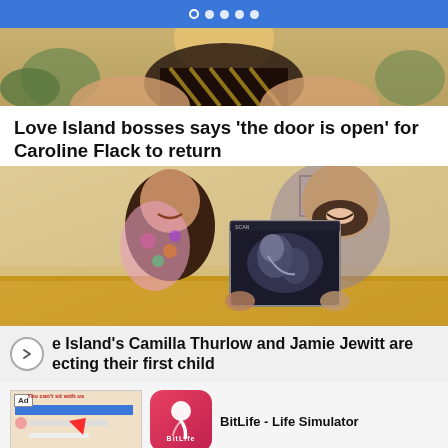Navigation dots indicator
[Figure (photo): Partial photo of a woman with blonde hair wearing a patterned top, cropped at top]
Love Island bosses says 'the door is open' for Caroline Flack to return
[Figure (photo): A smiling woman and bearded man holding up a baby ultrasound scan photo, sitting on a yellow sofa]
e Island's Camilla Thurlow and Jamie Jewitt are ecting their first child
[Figure (screenshot): Advertisement for BitLife - Life Simulator app showing ad creative and app icon with INSTALL button]